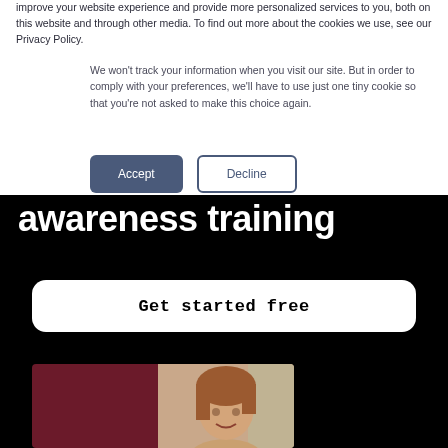improve your website experience and provide more personalized services to you, both on this website and through other media. To find out more about the cookies we use, see our Privacy Policy.
We won't track your information when you visit our site. But in order to comply with your preferences, we'll have to use just one tiny cookie so that you're not asked to make this choice again.
Accept | Decline
awareness training
Get started free
[Figure (photo): Two-panel image: left panel is dark maroon/burgundy color block, right panel shows a person with short reddish-brown hair]